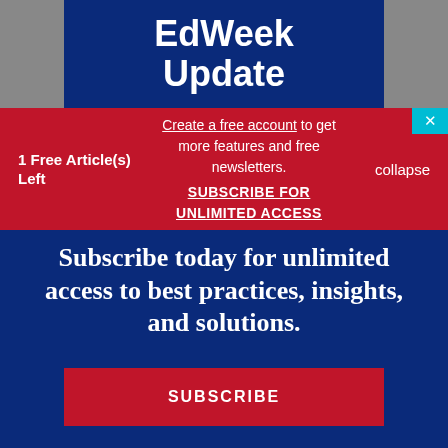[Figure (screenshot): EdWeek Update app banner with dark blue background and phone graphic]
1 Free Article(s) Left
Create a free account to get more features and free newsletters. SUBSCRIBE FOR UNLIMITED ACCESS
collapse
Subscribe today for unlimited access to best practices, insights, and solutions.
SUBSCRIBE